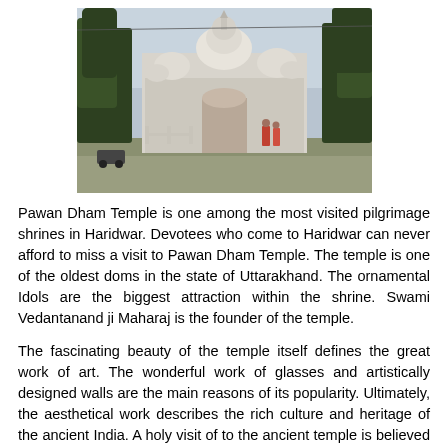[Figure (photo): Photograph of Pawan Dham Temple in Haridwar, showing white ornate temple architecture with domes, trees on either side, and a few people visible near the entrance gate.]
Pawan Dham Temple is one among the most visited pilgrimage shrines in Haridwar. Devotees who come to Haridwar can never afford to miss a visit to Pawan Dham Temple. The temple is one of the oldest doms in the state of Uttarakhand. The ornamental Idols are the biggest attraction within the shrine. Swami Vedantanand ji Maharaj is the founder of the temple.
The fascinating beauty of the temple itself defines the great work of art. The wonderful work of glasses and artistically designed walls are the main reasons of its popularity. Ultimately, the aesthetical work describes the rich culture and heritage of the ancient India. A holy visit of to the ancient temple is believed to make oneself free from one's sin.